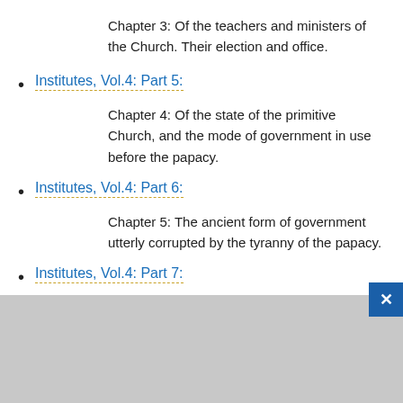Chapter 3: Of the teachers and ministers of the Church. Their election and office.
Institutes, Vol.4: Part 5:
Chapter 4: Of the state of the primitive Church, and the mode of government in use before the papacy.
Institutes, Vol.4: Part 6:
Chapter 5: The ancient form of government utterly corrupted by the tyranny of the papacy.
Institutes, Vol.4: Part 7: